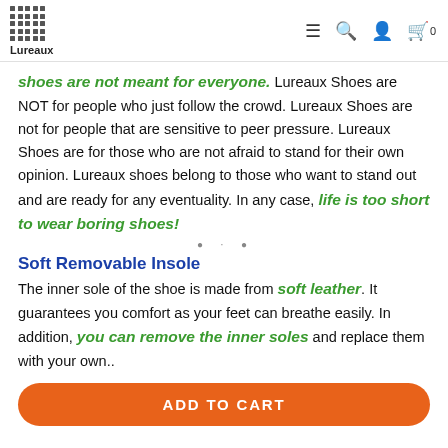Lureaux
shoes are not meant for everyone. Lureaux Shoes are NOT for people who just follow the crowd. Lureaux Shoes are not for people that are sensitive to peer pressure. Lureaux Shoes are for those who are not afraid to stand for their own opinion. Lureaux shoes belong to those who want to stand out and are ready for any eventuality. In any case, life is too short to wear boring shoes!
Soft Removable Insole
The inner sole of the shoe is made from soft leather. It guarantees you comfort as your feet can breathe easily. In addition, you can remove the inner soles and replace them with your own..